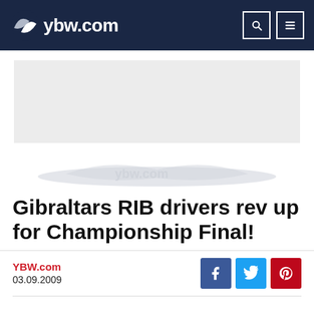ybw.com
[Figure (other): Light grey advertisement banner placeholder]
[Figure (illustration): Grey watermark/logo of ybw.com in light grey curved shape]
Gibraltars RIB drivers rev up for Championship Final!
YBW.com
03.09.2009